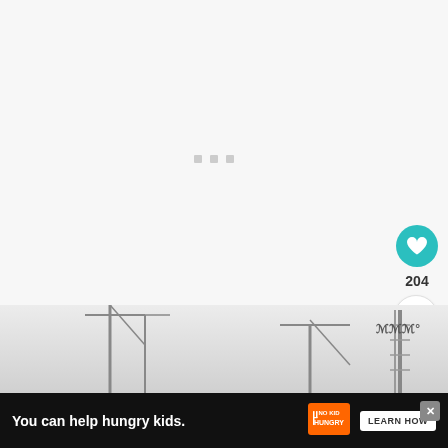[Figure (screenshot): Loading spinner with three grey square dots centered in a light grey area]
[Figure (illustration): Teal circular like/heart button with count 204 below it, and a white share button]
204
[Figure (screenshot): WHAT'S NEXT panel showing thumbnail of food and text 'Asparagus Fried Rice']
WHAT'S NEXT →
Asparagus Fried Rice
[Figure (photo): Bottom portion of page showing cranes/towers against a light grey sky]
[Figure (infographic): Advertisement banner: 'You can help hungry kids.' with NO KID HUNGRY logo and LEARN HOW button]